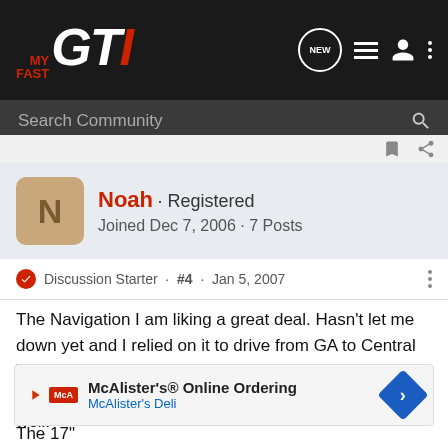MyFastGTI - Search Community
Noah · Registered
Joined Dec 7, 2006 · 7 Posts
Discussion Starter · #4 · Jan 5, 2007
The Navigation I am liking a great deal. Hasn't let me down yet and I relied on it to drive from GA to Central Texas. No problems at all. The interface is easy to use, though I'd like the ability to search by phone number as well.

I do have the CD Changer in the center console. I have the AUX Ja...

The 17"
McAlister's® Online Ordering
McAlister's Deli